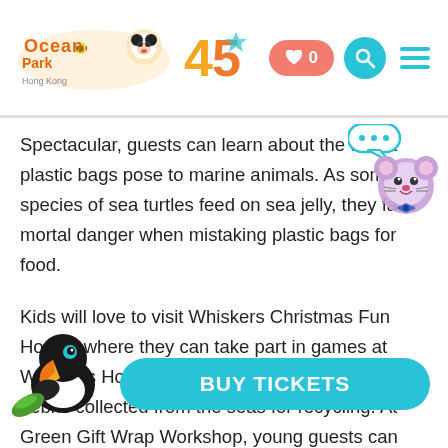Ocean Park Hong Kong – 45th Anniversary
Spectacular, guests can learn about the threat plastic bags pose to marine animals. As some species of sea turtles feed on sea jelly, they face mortal danger when mistaking plastic bags for food.
Kids will love to visit Whiskers Christmas Fun House, where they can take part in games at Whiskers House Party and Santa in sorting debris collected from the seas for recycling. At Green Gift Wrap Workshop, young guests can learn to make unique Christmas gifts using eco-friendly reusable packaging, thereby helping spread conservation messages as they exchange gifts with loved ones. Starry Sea Square, already decorated with aquatic ornaments and big corals all around, is where Santa
[Figure (illustration): Ocean Park logo with 45th anniversary badge]
[Figure (illustration): Whiskers mouse mascot with speech bubble containing ellipsis]
[Figure (illustration): Toucan mascot in bottom left corner]
[Figure (other): BUY TICKETS cyan rounded button]